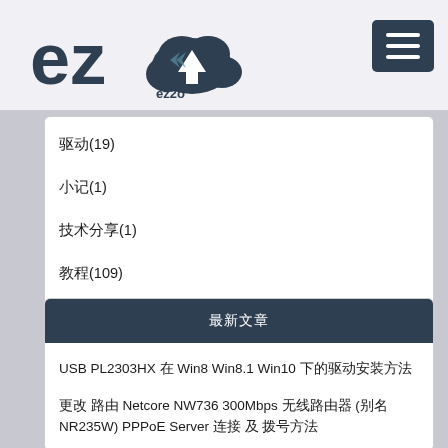[Figure (logo): ez2o logo with cloud icon and ez2o text]
驱动(19)
小记(1)
技术分享(1)
教程(109)
资源分享(7)
最新文章
USB PL2303HX 在 Win8 Win8.1 Win10 下的驱动安装方法
更改 路由 Netcore NW736 300Mbps 无线路由器 (别名NR235W) PPPoE Server 连接 及 拨号方法